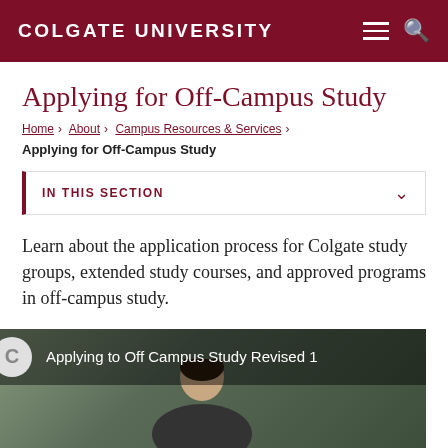COLGATE UNIVERSITY
Applying for Off-Campus Study
Home › About › Campus Resources & Services ›
Applying for Off-Campus Study
IN THIS SECTION
Learn about the application process for Colgate study groups, extended study courses, and approved programs in off-campus study.
[Figure (screenshot): Video thumbnail showing 'Applying to Off Campus Study Revised 1' with a channel icon showing the letter C and a person visible in the background]